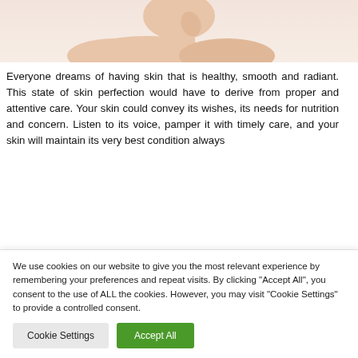[Figure (photo): Partial view of a person touching their face/chin, showing neck and shoulder area, used in a skincare/beauty context]
Everyone dreams of having skin that is healthy, smooth and radiant. This state of skin perfection would have to derive from proper and attentive care. Your skin could convey its wishes, its needs for nutrition and concern. Listen to its voice, pamper it with timely care, and your skin will maintain its very best condition always
We use cookies on our website to give you the most relevant experience by remembering your preferences and repeat visits. By clicking "Accept All", you consent to the use of ALL the cookies. However, you may visit "Cookie Settings" to provide a controlled consent.
Cookie Settings
Accept All